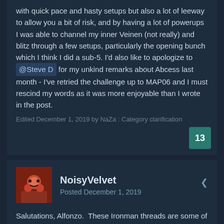with quick pace and hasty setups but also a lot of leeway to allow you a bit of risk, and by having a lot of powerups I was able to channel my inner Veinen (not really) and blitz through a few setups, particularly the opening bunch which I think I did a sub-5. I'd also like to apologize to @Steve D for my unkind remarks about Abcess last month - I've retried the challenge up to MAP06 and I must rescind my words as it was more enjoyable than I wrote in the post.
Edited December 1, 2019 by NaZa : Category clarification
13
NoisyVelvet
Posted December 1, 2019
Salutations, Alfonzo.  These Ironman threads are some of my favorite things on these doom forums, and add more entertainment & structure to playing doom than just picking up miscellaneous maps from Wads and Mods.  I'm glad you started this monthly event.
Also...
DEAD: Map04 (cat 2)
hasty play, quick death. at least its dinner time.